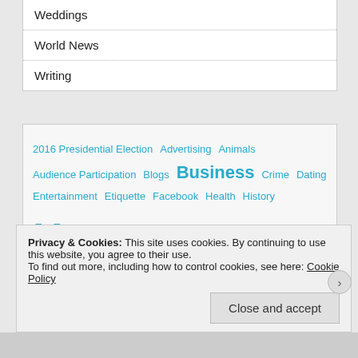Weddings
World News
Writing
[Figure (infographic): Tag cloud with categories in various sizes and cyan/blue color: 2016 Presidential Election, Advertising, Animals, Audience Participation, Blogs, Business (large), Crime, Dating, Entertainment, Etiquette, Facebook, Health, History, Humor (very large), Law, Media, Mildly Bad News (very large), Movies, Music, Politics (large), Restaurants, science, Sports, Technology, television, The Future]
Privacy & Cookies: This site uses cookies. By continuing to use this website, you agree to their use.
To find out more, including how to control cookies, see here: Cookie Policy
Close and accept